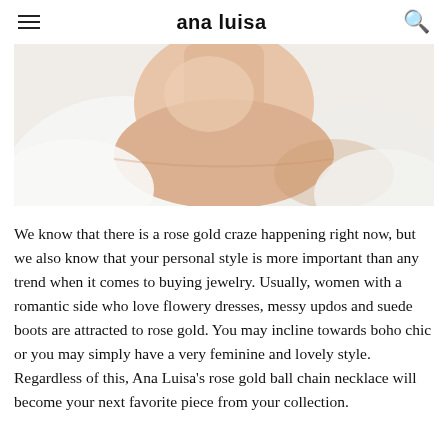ana luisa
[Figure (photo): Close-up of a person's neck and collarbone area, wearing a white top, skin is bare with no visible jewelry, soft natural lighting]
We know that there is a rose gold craze happening right now, but we also know that your personal style is more important than any trend when it comes to buying jewelry. Usually, women with a romantic side who love flowery dresses, messy updos and suede boots are attracted to rose gold. You may incline towards boho chic or you may simply have a very feminine and lovely style. Regardless of this, Ana Luisa’s rose gold ball chain necklace will become your next favorite piece from your collection.